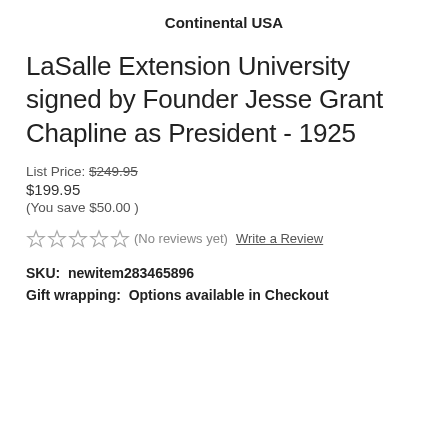Continental USA
LaSalle Extension University signed by Founder Jesse Grant Chapline as President - 1925
List Price: $249.95
$199.95
(You save $50.00 )
★★★★★ (No reviews yet) Write a Review
SKU: newitem283465896
Gift wrapping: Options available in Checkout